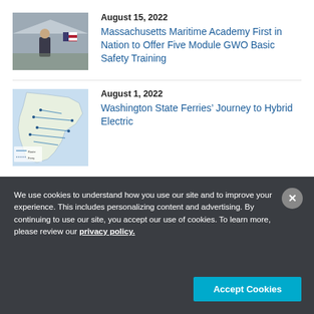[Figure (photo): Photo of a person at an outdoor event, possibly a press conference or ceremony]
August 15, 2022
Massachusetts Maritime Academy First in Nation to Offer Five Module GWO Basic Safety Training
[Figure (map): Map of Washington State ferry routes]
August 1, 2022
Washington State Ferries’ Journey to Hybrid Electric
We use cookies to understand how you use our site and to improve your experience. This includes personalizing content and advertising. By continuing to use our site, you accept our use of cookies. To learn more, please review our privacy policy.